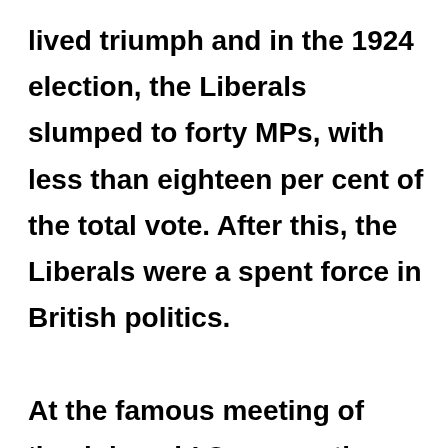lived triumph and in the 1924 election, the Liberals slumped to forty MPs, with less than eighteen per cent of the total vote. After this, the Liberals were a spent force in British politics. At the famous meeting of 'back-bench' Conservative MPs at the Carlton Club on 19 October 1922, Chamberlain debated with Stanley Baldwin the future direction